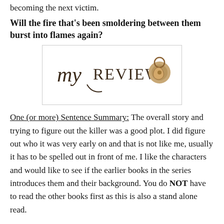becoming the next victim.
Will the fire that's been smoldering between them burst into flames again?
[Figure (logo): my REVIEW logo with decorative script 'my', serif 'REVIEW' text, and a golden snail shell icon]
One (or more) Sentence Summary:  The overall story and trying to figure out the killer was a good plot. I did figure out who it was very early on and that is not like me, usually it has to be spelled out in front of me. I like the characters and would like to see if the earlier books in the series introduces them and their background. You do NOT have to read the other books first as this is also a stand alone read.
What I didn't care for is some of the writing style. At times I felt there were sentences or a paragraph that would have been in a